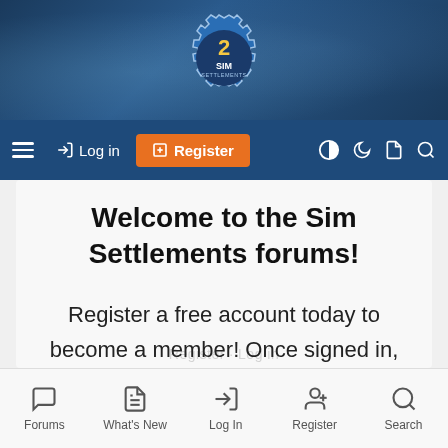[Figure (screenshot): Sim Settlements 2 forum website logo - gear icon with '2 SIM SETTLEMENTS' text]
≡  Log in  Register  (toggle icons) (search icon)
Welcome to the Sim Settlements forums!
Register a free account today to become a member! Once signed in, you'll be able to participate on this site by adding your own topics and posts, as well as connect with other members through your own private inbox!
Forums  What's New  Log In  Register  Search